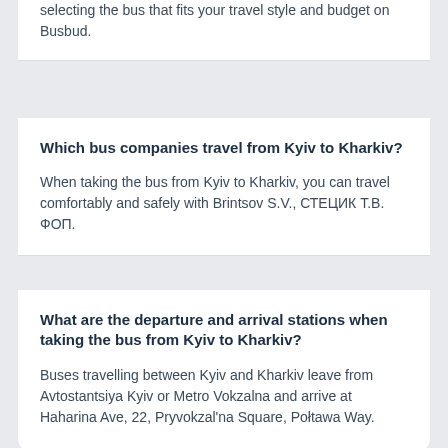selecting the bus that fits your travel style and budget on Busbud.
Which bus companies travel from Kyiv to Kharkiv?
When taking the bus from Kyiv to Kharkiv, you can travel comfortably and safely with Brintsov S.V., СТЕЦИК Т.В. ФОП.
What are the departure and arrival stations when taking the bus from Kyiv to Kharkiv?
Buses travelling between Kyiv and Kharkiv leave from Avtostantsiya Kyiv or Metro Vokzalna and arrive at Haharina Ave, 22, Pryvokzal'na Square, Połtawa Way.